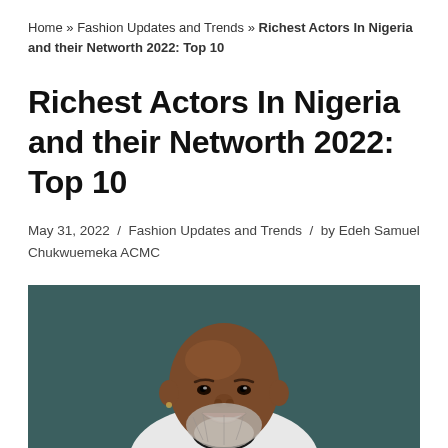Home » Fashion Updates and Trends » Richest Actors In Nigeria and their Networth 2022: Top 10
Richest Actors In Nigeria and their Networth 2022: Top 10
May 31, 2022 / Fashion Updates and Trends / by Edeh Samuel Chukwuemeka ACMC
[Figure (photo): Portrait photo of a smiling middle-aged bald Black man with a grey beard, wearing a white t-shirt with a black collar, against a dark teal background]